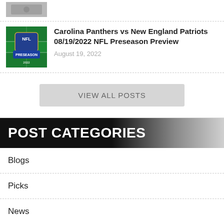[Figure (photo): Partial image of a previous article thumbnail (cropped at top)]
[Figure (photo): NFL Preseason 2022 logo/badge image with football field background]
Carolina Panthers vs New England Patriots 08/19/2022 NFL Preseason Preview
August 19, 2022
VIEW ALL POSTS
POST CATEGORIES
Blogs
Picks
News